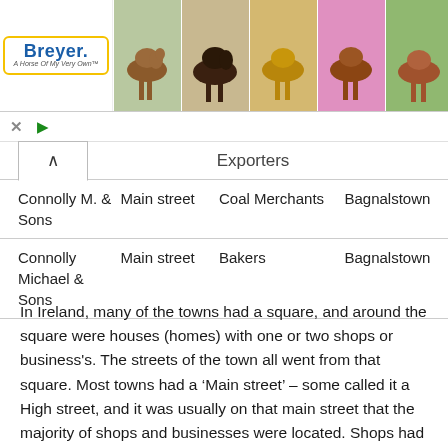[Figure (photo): Breyer horse brand advertisement banner with logo on left and five horse photos arranged horizontally]
| Exporters |  |  |  |
| --- | --- | --- | --- |
| Connolly M. & Sons | Main street | Coal Merchants | Bagnalstown |
| Connolly Michael & Sons | Main street | Bakers | Bagnalstown |
In Ireland, many of the towns had a square, and around the square were houses (homes) with one or two shops or business's. The streets of the town all went from that square. Most towns had a ‘Main street’ – some called it a High street, and it was usually on that main street that the majority of shops and businesses were located. Shops had one or two large windows depending on the size of the shop. Many Public houses had a grocery section. You walked in the door and the grocery section was at the front of the shop with the